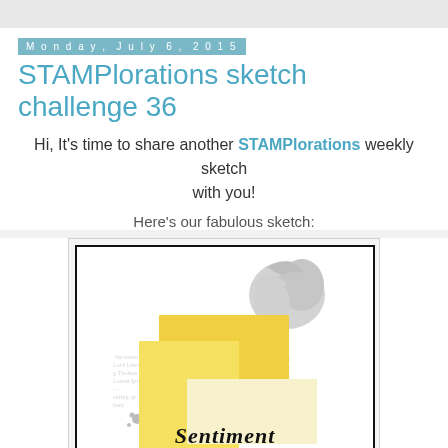Monday, July 6, 2015
STAMPlorations sketch challenge 36
Hi, It's time to share another STAMPlorations weekly sketch with you!
Here's our fabulous sketch:
[Figure (illustration): A card sketch layout showing overlapping yellow and cream rectangles on a background with vintage text and botanical ink illustrations, with 'Sentiment' written in script at the bottom center, and ink splatters scattered around.]